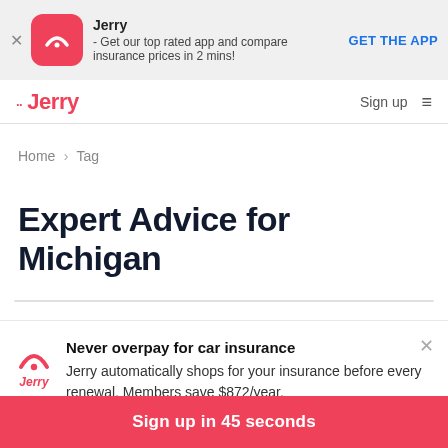[Figure (screenshot): App install banner for Jerry app with pink icon, close button, description text, and GET THE APP link]
Jerry · Sign up ≡
Home > Tag
Expert Advice for Michigan
[Figure (infographic): Jerry insurance popup with logo, heading 'Never overpay for car insurance', body text about automatic shopping and $872/year savings, and pink Sign up button]
Never overpay for car insurance
Jerry automatically shops for your insurance before every renewal. Members save $872/year.
Sign up in 45 seconds